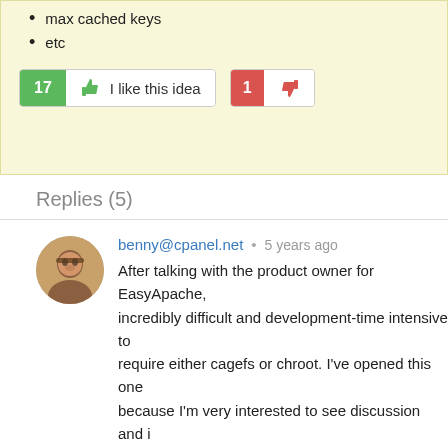max cached keys
etc
17  I like this idea   1 [dislike]
Replies (5)
benny@cpanel.net  •  5 years ago
After talking with the product owner for EasyApache, incredibly difficult and development-time intensive to require either cagefs or chroot. I've opened this one because I'm very interested to see discussion and i
Reply   URL
Greg  •  5 years ago
To help paint the picture for others, my recommend